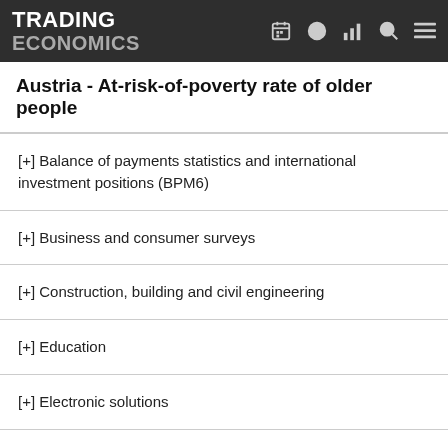TRADING ECONOMICS
Austria - At-risk-of-poverty rate of older people
[+] Balance of payments statistics and international investment positions (BPM6)
[+] Business and consumer surveys
[+] Construction, building and civil engineering
[+] Education
[+] Electronic solutions
[+] Employment
[+] Energy statistics
[+] Final consumption expenditure of households and NPISH